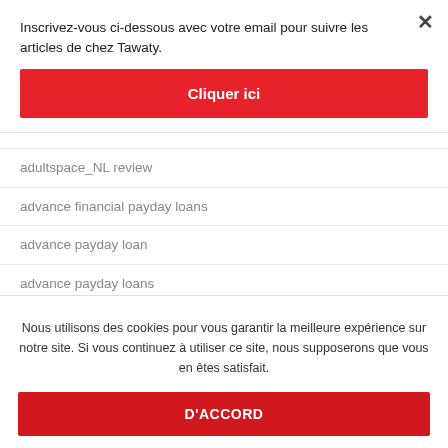Inscrivez-vous ci-dessous avec votre email pour suivre les articles de chez Tawaty.
Cliquer ici
adultspace_NL review
advance financial payday loans
advance payday loan
advance payday loans
advance title loan
Nous utilisons des cookies pour vous garantir la meilleure expérience sur notre site. Si vous continuez à utiliser ce site, nous supposerons que vous en êtes satisfait.
D'ACCORD
advertise payday loan content